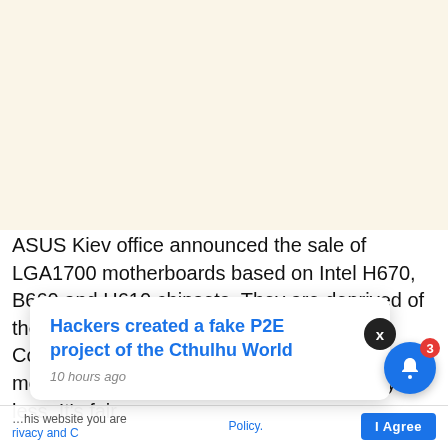[Figure (other): Advertisement / banner area with cream/beige background]
ASUS Kiev office announced the sale of LGA1700 motherboards based on Intel H670, B660 and H610 chipsets. They are deprived of the overclocking capability of the 12th Gen Core processors that the LGA1700 / Z690 models offer, but they also cost significantly less. It's fair
Hackers created a fake P2E project of the Cthulhu World
10 hours ago
this website you are
privacy and {
Policy.
I Agree